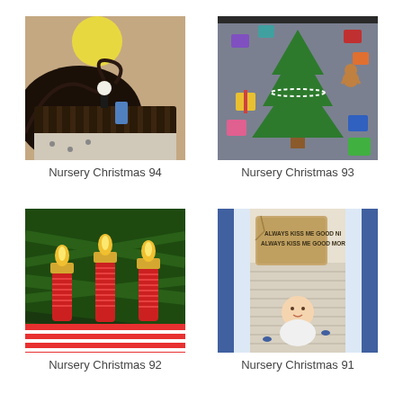[Figure (photo): Nursery Christmas 94 - A baby crib with Nightmare Before Christmas themed decor including a Jack Skellington wall mural with yellow moon]
Nursery Christmas 94
[Figure (photo): Nursery Christmas 93 - A felt Christmas tree board with colorful ornament cutouts and decorations on a gray background]
Nursery Christmas 93
[Figure (photo): Nursery Christmas 92 - Handmade paper candle ornaments with red coiled bases and yellow flame shapes on a Christmas tree]
Nursery Christmas 92
[Figure (photo): Nursery Christmas 91 - A baby lying in a white striped crib with a burlap pillow reading ALWAYS KISS ME GOOD NIGHT ALWAYS KISS ME GOOD MORNING]
Nursery Christmas 91